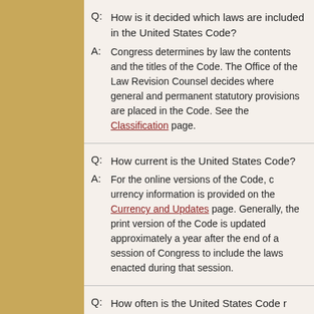Q: How is it decided which laws are included in the United States Code?
A: Congress determines by law the contents and the titles of the Code. The Office of the Law Revision Counsel decides where general and permanent statutory provisions are placed in the Code. See the Classification page.
Q: How current is the United States Code?
A: For the online versions of the Code, currency information is provided on the Currency and Updates page. Generally, the print version of the Code is updated approximately a year after the end of a session of Congress to include the laws enacted during that session.
Q: How often is the United States Code revised?
A: For the most current version of the Code, for searching and browsing on this website, changes made throughout a congressional session...